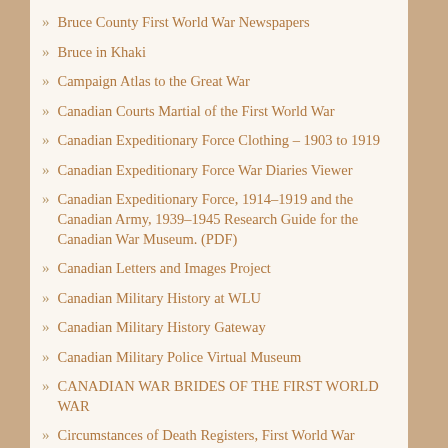Bruce County First World War Newspapers
Bruce in Khaki
Campaign Atlas to the Great War
Canadian Courts Martial of the First World War
Canadian Expeditionary Force Clothing – 1903 to 1919
Canadian Expeditionary Force War Diaries Viewer
Canadian Expeditionary Force, 1914–1919 and the Canadian Army, 1939–1945 Research Guide for the Canadian War Museum. (PDF)
Canadian Letters and Images Project
Canadian Military History at WLU
Canadian Military History Gateway
Canadian Military Police Virtual Museum
CANADIAN WAR BRIDES OF THE FIRST WORLD WAR
Circumstances of Death Registers, First World War